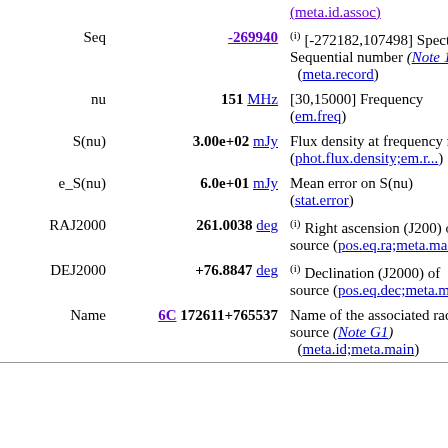| Field | Value | Description |
| --- | --- | --- |
|  | (meta.id.assoc) |  |
| Seq | -269940 | (i) [-272182,107498] Spectrum Sequential number (Note 1) (meta.record) |
| nu | 151 MHz | [30,15000] Frequency (em.freq) |
| S(nu) | 3.00e+02 mJy | Flux density at frequency nu (phot.flux.density;em.r...) |
| e_S(nu) | 6.0e+01 mJy | Mean error on S(nu) (stat.error) |
| RAJ2000 | 261.0038 deg | (i) Right ascension (J2000) of source (pos.eq.ra;meta.main) |
| DEJ2000 | +76.8847 deg | (i) Declination (J2000) of source (pos.eq.dec;meta.main) |
| Name | 6C 172611+765537 | Name of the associated radio source (Note G1) (meta.id;meta.main) |